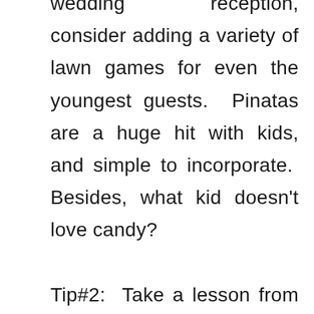wedding reception, consider adding a variety of lawn games for even the youngest guests. Pinatas are a huge hit with kids, and simple to incorporate. Besides, what kid doesn't love candy? Tip#2: Take a lesson from any restaurant that serves children. The